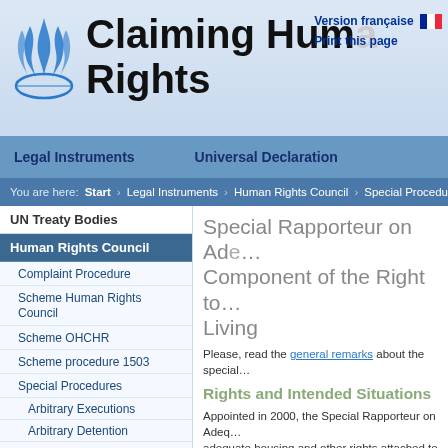Claiming Human Rights
Version française | Print this page
Legal Instruments   Universal Declaration
You are here: Start > Legal Instruments > Human Rights Council > Special Procedures
UN Treaty Bodies
Human Rights Council
Complaint Procedure
Scheme Human Rights Council
Scheme OHCHR
Scheme procedure 1503
Special Procedures
Arbitrary Executions
Arbitrary Detention
Enforced Disappearances
Torture
Special Rapporteur on Adequate Housing as a Component of the Right to an Adequate Standard of Living
Please, read the general remarks about the special procedures.
Rights and Intended Situations
Appointed in 2000, the Special Rapporteur on Adequate Housing focuses on adequate housing and other rights attached to it. He/She addresses inequalities between men and women, in access to affordable housing and focuses on the problems of homeless and people concerned with forced evictions.
The Commission on Human Rights defined the mandate of the Rapporteur as follows: He/She "will focus on adequate housing as a component..."